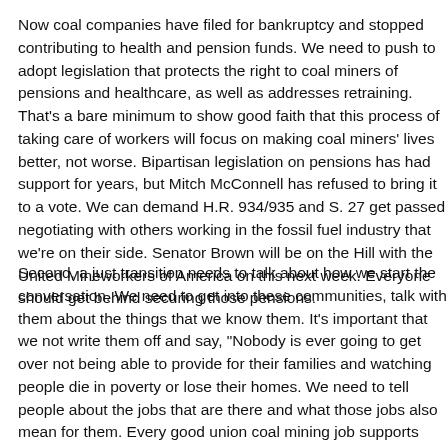Now coal companies have filed for bankruptcy and stopped contributing to health and pension funds. We need to push to adopt legislation that protects the right to coal miners of pensions and healthcare, as well as addresses retraining. That's a bare minimum to show good faith that this process of taking care of workers will focus on making coal miners' lives better, not worse. Bipartisan legislation on pensions has had support for years, but Mitch McConnell has refused to bring it to a vote. We can demand H.R. 934/935 and S. 27 get passed negotiating with others working in the fossil fuel industry that we're on their side. Senator Brown will be on the Hill with the United Mineworkers of America on this next week. Everyone should get behind securing those pensions.
Second, a just transition needs to talk about how we start the conversation. We need to get into these communities, talk with them about the things that we know them. It's important that we not write them off and say, "just get over it." Nobody is ever going to get over not being able to provide for their families and watching people die in poverty or lose their homes. We need to tell people about the jobs that are there and what those jobs also mean for them. Every good union coal mining job supports another five jobs. We need to start talking about how we are going to put some of